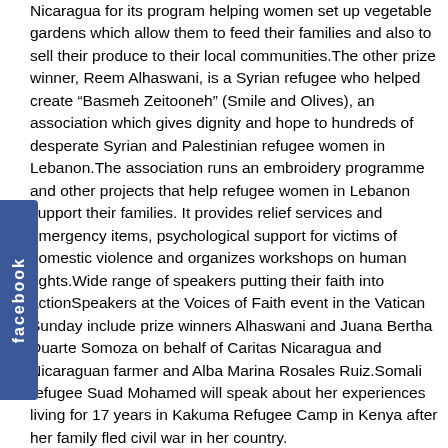Nicaragua for its program helping women set up vegetable gardens which allow them to feed their families and also to sell their produce to their local communities.The other prize winner, Reem Alhaswani, is a Syrian refugee who helped create “Basmeh Zeitooneh” (Smile and Olives), an association which gives dignity and hope to hundreds of desperate Syrian and Palestinian refugee women in Lebanon.The association runs an embroidery programme and other projects that help refugee women in Lebanon support their families. It provides relief services and emergency items, psychological support for victims of domestic violence and organizes workshops on human rights.Wide range of speakers putting their faith into actionSpeakers at the Voices of Faith event in the Vatican Sunday include prize winners Alhaswani and Juana Bertha Duarte Somoza on behalf of Caritas Nicaragua and Nicaraguan farmer and Alba Marina Rosales Ruiz.Somali refugee Suad Mohamed will speak about her experiences living for 17 years in Kakuma Refugee Camp in Kenya after her family fled civil war in her country.
She will tell the story of how her life changed and she was able to give back to her community when she was given the opportunity to study through a ground-breaking higher education program offered by Jesuit Commons: Higher Education at the Margins.International Director of the program, Dr. Mary McFarland will explain how Jesuit